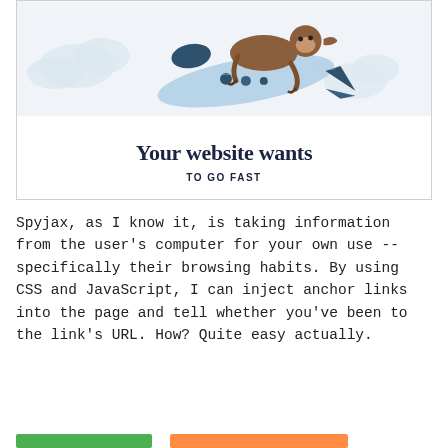[Figure (illustration): A cartoon sloth riding a rocket ship in a cloudy sky, with text 'Your website wants TO GO FAST']
Spyjax, as I know it, is taking information from the user's computer for your own use -- specifically their browsing habits. By using CSS and JavaScript, I can inject anchor links into the page and tell whether you've been to the link's URL. How? Quite easy actually.